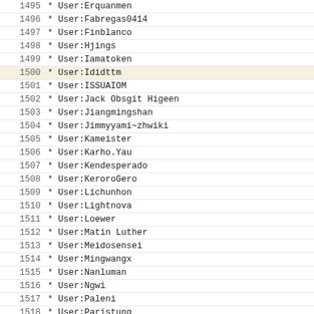1495  * User:Erquanmen
1496  * User:Fabregas0414
1497  * User:Finblanco
1498  * User:Hjings
1499  * User:Iamatoken
1500  * User:Ididttm
1501  * User:ISSUAIOM
1502  * User:Jack Obsgit Higeen
1503  * User:Jiangmingshan
1504  * User:Jimmyyami~zhwiki
1505  * User:Kameister
1506  * User:Karho.Yau
1507  * User:Kendesperado
1508  * User:KeroroGero
1509  * User:Lichunhon
1510  * User:Lightnova
1511  * User:Loewer
1512  * User:Matin Luther
1513  * User:Meidosensei
1514  * User:Mingwangx
1515  * User:Nanluman
1516  * User:Ngwi
1517  * User:Paleni
1518  * User:Paristung
1519  * User:Park1996